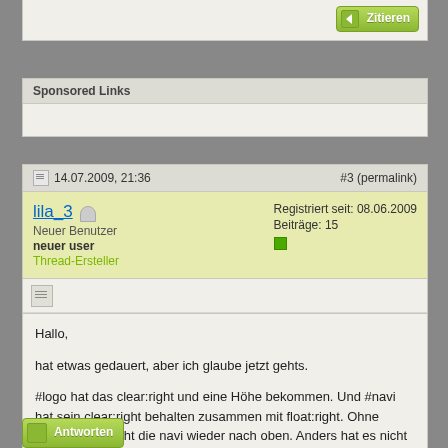Zitieren (top button)
Sponsored Links
14.07.2009, 21:36  #3 (permalink)
lila_3
Neuer Benutzer
neuer user
Thread-Ersteller
Registriert seit: 08.06.2009
Beiträge: 15
Hallo,

hat etwas gedauert, aber ich glaube jetzt gehts.

#logo hat das clear:right und eine Höhe bekommen. Und #navi hat sein clear:right behalten zusammen mit float:right. Ohne clear:right rutscht die navi wieder nach oben. Anders hat es nicht funktioniert.

Vielen Dank nochmal.
lila_3
Zitieren (bottom button)
Antworten